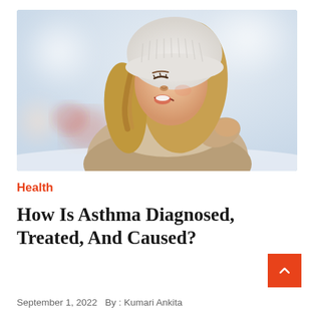[Figure (photo): A young woman wearing a white knit beanie hat and winter coat using a blue asthma inhaler outdoors in a snowy setting, eyes closed, mouth open around the inhaler.]
Health
How Is Asthma Diagnosed, Treated, And Caused?
September 1, 2022  By : Kumari Ankita